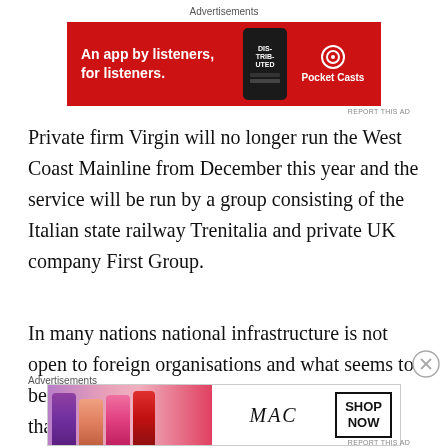[Figure (other): Red Pocket Casts advertisement banner: 'An app by listeners, for listeners.' with phone graphic and Pocket Casts logo]
Private firm Virgin will no longer run the West Coast Mainline from December this year and the service will be run by a group consisting of the Italian state railway Trenitalia and private UK company First Group.
In many nations national infrastructure is not open to foreign organisations and what seems to be the case in the UK with transport at least is that they overcharge and provide a terrible service with profits going to provide a cheap and often better service at home.  One can
[Figure (other): MAC cosmetics advertisement banner showing lipsticks with 'SHOP NOW' button]